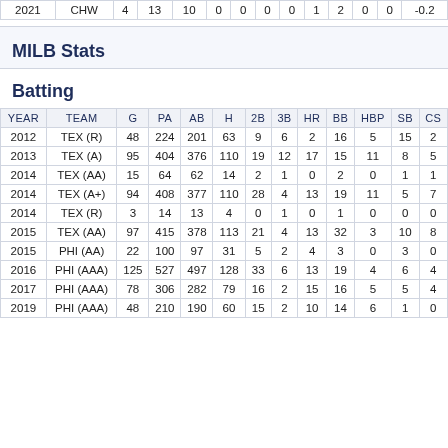| YEAR | TEAM | G | PA | AB | H | 2B | 3B | HR | BB | HBP | SB | CS |
| --- | --- | --- | --- | --- | --- | --- | --- | --- | --- | --- | --- | --- |
| 2021 | CHW | 4 | 13 | 10 | 0 | 0 | 0 | 0 | 1 | 2 | 0 | 0 | -0.2 |
MILB Stats
Batting
| YEAR | TEAM | G | PA | AB | H | 2B | 3B | HR | BB | HBP | SB | CS |
| --- | --- | --- | --- | --- | --- | --- | --- | --- | --- | --- | --- | --- |
| 2012 | TEX (R) | 48 | 224 | 201 | 63 | 9 | 6 | 2 | 16 | 5 | 15 | 2 |
| 2013 | TEX (A) | 95 | 404 | 376 | 110 | 19 | 12 | 17 | 15 | 11 | 8 | 5 |
| 2014 | TEX (AA) | 15 | 64 | 62 | 14 | 2 | 1 | 0 | 2 | 0 | 1 | 1 |
| 2014 | TEX (A+) | 94 | 408 | 377 | 110 | 28 | 4 | 13 | 19 | 11 | 5 | 7 |
| 2014 | TEX (R) | 3 | 14 | 13 | 4 | 0 | 1 | 0 | 1 | 0 | 0 | 0 |
| 2015 | TEX (AA) | 97 | 415 | 378 | 113 | 21 | 4 | 13 | 32 | 3 | 10 | 8 |
| 2015 | PHI (AA) | 22 | 100 | 97 | 31 | 5 | 2 | 4 | 3 | 0 | 3 | 0 |
| 2016 | PHI (AAA) | 125 | 527 | 497 | 128 | 33 | 6 | 13 | 19 | 4 | 6 | 4 |
| 2017 | PHI (AAA) | 78 | 306 | 282 | 79 | 16 | 2 | 15 | 16 | 5 | 5 | 4 |
| 2019 | PHI (AAA) | 48 | 210 | 190 | 60 | 15 | 2 | 10 | 14 | 6 | 1 | 0 |